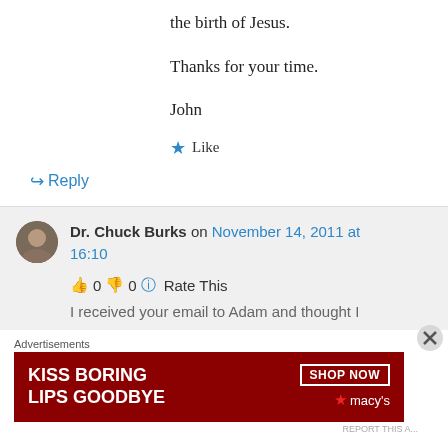the birth of Jesus.
Thanks for your time.
John
★ Like
↪ Reply
Dr. Chuck Burks on November 14, 2011 at 16:10
👍 0 👎 0 ℹ Rate This
I received your email to Adam and thought I
[Figure (screenshot): Advertisement banner: KISS BORING LIPS GOODBYE with SHOP NOW button and Macy's logo]